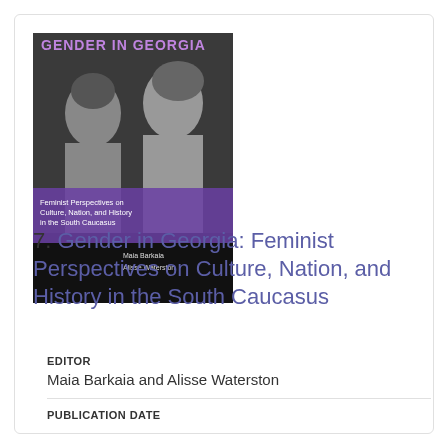[Figure (illustration): Book cover of 'Gender in Georgia: Feminist Perspectives on Culture, Nation, and History in the South Caucasus', edited by Maia Barkaia and Alisse Waterston. Cover has purple title text on dark background with a black-and-white photo of two women, and a purple banner with subtitle text.]
7. Gender in Georgia: Feminist Perspectives on Culture, Nation, and History in the South Caucasus
EDITOR
Maia Barkaia and Alisse Waterston
PUBLICATION DATE